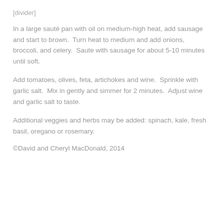[divider]
In a large sauté pan with oil on medium-high heat, add sausage and start to brown.  Turn heat to medium and add onions, broccoli, and celery.  Saute with sausage for about 5-10 minutes until soft.
Add tomatoes, olives, feta, artichokes and wine.  Sprinkle with garlic salt.  Mix in gently and simmer for 2 minutes.  Adjust wine and garlic salt to taste.
Additional veggies and herbs may be added: spinach, kale, fresh basil, oregano or rosemary.
©David and Cheryl MacDonald, 2014